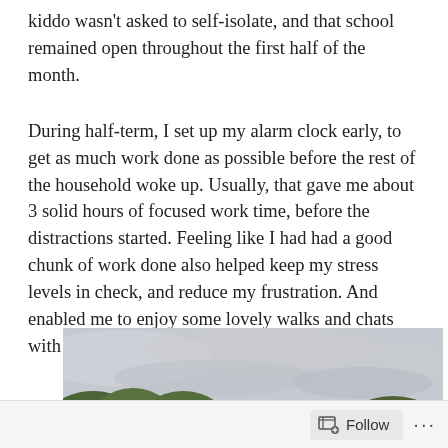kiddo wasn't asked to self-isolate, and that school remained open throughout the first half of the month.
During half-term, I set up my alarm clock early, to get as much work done as possible before the rest of the household woke up. Usually, that gave me about 3 solid hours of focused work time, before the distractions started. Feeling like I had had a good chunk of work done also helped keep my stress levels in check, and reduce my frustration. And enabled me to enjoy some lovely walks and chats with the kiddo.
[Figure (photo): Outdoor landscape photograph showing green trees against an overcast grey sky, partially cropped at bottom of page]
Follow ···